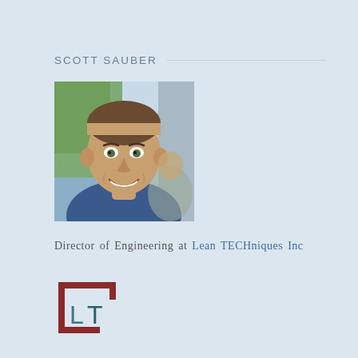SCOTT SAUBER
[Figure (photo): Headshot of Scott Sauber, a young man with short brown hair, smiling, wearing a blue shirt, photographed outdoors.]
Director of Engineering at Lean TECHniques Inc
[Figure (logo): Lean TECHniques Inc logo: a square bracket shape in dark red/maroon with 'LT' letters inside in teal/dark teal color.]